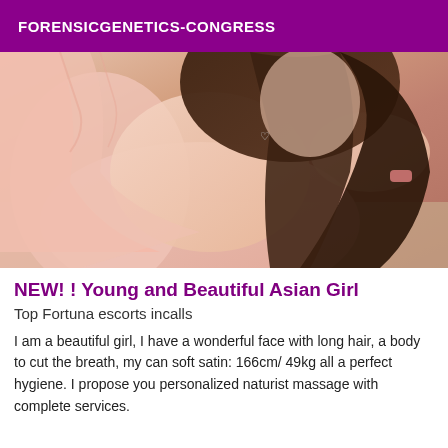FORENSICGENETICS-CONGRESS
[Figure (photo): Photo of a young woman in a pink outfit, posed leaning forward, dark hair, wearing a bracelet, taken in what appears to be a car interior setting.]
NEW! ! Young and Beautiful Asian Girl
Top Fortuna escorts incalls
I am a beautiful girl, I have a wonderful face with long hair, a body to cut the breath, my can soft satin: 166cm/ 49kg all a perfect hygiene. I propose you personalized naturist massage with complete services.